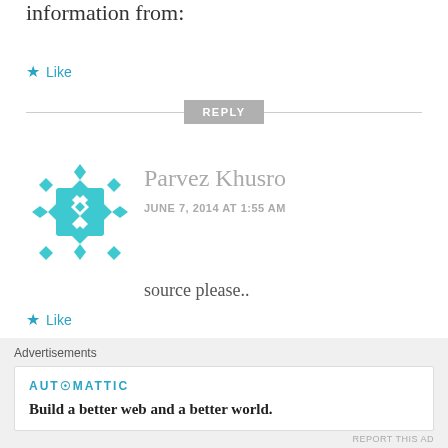information from:
★ Like
REPLY
[Figure (illustration): Teal/cyan geometric diamond-pattern avatar for Parvez Khusro]
Parvez Khusro
JUNE 7, 2014 AT 1:55 AM
source please..
★ Like
REPLY
Advertisements
AUTOMATTIC
Build a better web and a better world.
REPORT THIS AD